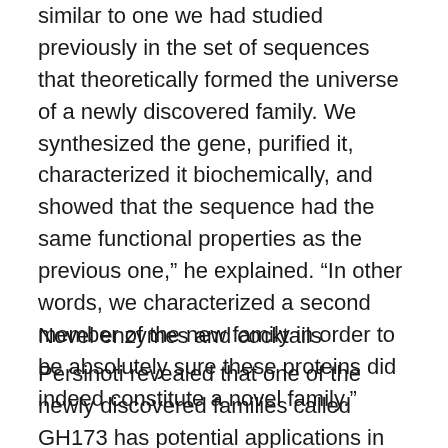similar to one we had studied previously in the set of sequences that theoretically formed the universe of a newly discovered family. We synthesized the gene, purified it, characterized it biochemically, and showed that the sequence had the same functional properties as the previous one," he explained. "In other words, we characterized a second member of the new family in order to be absolutely sure these proteins did indeed constitute a novel family."
Novel enzymes and cocktails
Persinoti revealed that one of the newly discovered families called GH173 has potential applications in the food industry